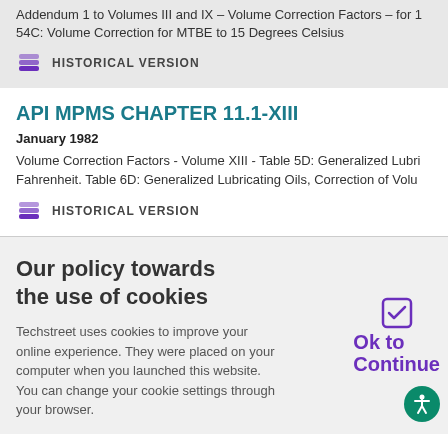Addendum 1 to Volumes III and IX - Volume Correction Factors - for 54C: Volume Correction for MTBE to 15 Degrees Celsius
HISTORICAL VERSION
API MPMS CHAPTER 11.1-XIII
January 1982
Volume Correction Factors - Volume XIII - Table 5D: Generalized Lubricating Oils, Correction of Volume to 60 Degrees Fahrenheit. Table 6D: Generalized Lubricating Oils, Correction of Volume to 15 Degrees Celsius
HISTORICAL VERSION
Our policy towards the use of cookies
Techstreet uses cookies to improve your online experience. They were placed on your computer when you launched this website. You can change your cookie settings through your browser.
Ok to Continue